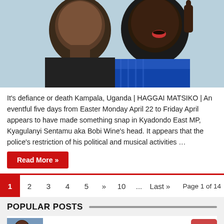[Figure (photo): Two men photographed together; one in a dark shirt on the left, one in a blue patterned shirt on the right pointing a finger upward.]
It's defiance or death Kampala, Uganda | HAGGAI MATSIKO | An eventful five days from Easter Monday April 22 to Friday April appears to have made something snap in Kyadondo East MP, Kyagulanyi Sentamu aka Bobi Wine's head. It appears that the police's restriction of his political and musical activities …
Read More »
1  2  3  4  5  »  10  ...  Last »  Page 1 of 14
POPULAR POSTS
Museveni's style in Bamuturaki case